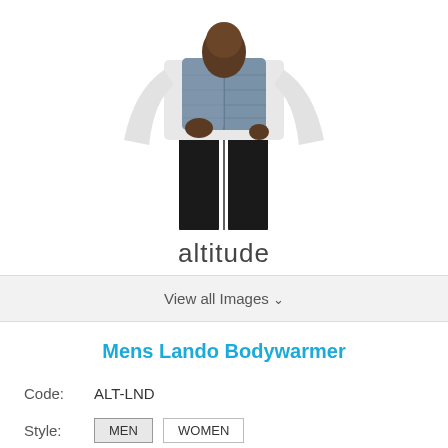[Figure (photo): A male model wearing a blue/slate quilted puffer vest over a white long-sleeve shirt with black jeans, photographed from torso down, white background]
altitude
View all Images ▼
Mens Lando Bodywarmer
Code:  ALT-LND
Style:  MEN  WOMEN